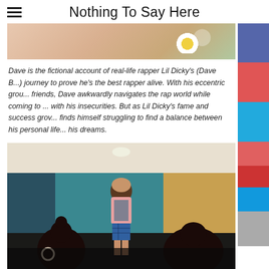Nothing To Say Here
[Figure (photo): Partial top image showing a floral/fabric scene with daisy flower on peach background]
Dave is the fictional account of real-life rapper Lil Dicky's (Dave B...) journey to prove he's the best rapper alive. With his eccentric grou... friends, Dave awkwardly navigates the rap world while coming to ... with his insecurities. But as Lil Dicky's fame and success grov... finds himself struggling to find a balance between his personal life... his dreams.
[Figure (photo): Scene from the TV show Dave showing a young man in a pink hoodie and plaid shorts standing in a living room, speaking to two people seated with their backs to the camera]